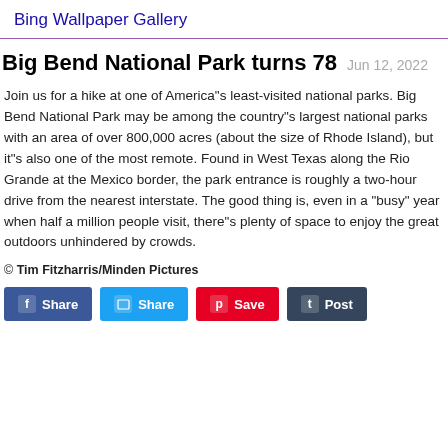Bing Wallpaper Gallery
Big Bend National Park turns 78  Jun 12, 2022
Join us for a hike at one of America"s least-visited national parks. Big Bend National Park may be among the country"s largest national parks with an area of over 800,000 acres (about the size of Rhode Island), but it"s also one of the most remote. Found in West Texas along the Rio Grande at the Mexico border, the park entrance is roughly a two-hour drive from the nearest interstate. The good thing is, even in a "busy" year when half a million people visit, there"s plenty of space to enjoy the great outdoors unhindered by crowds.
© Tim Fitzharris/Minden Pictures
[Figure (other): Social share buttons: Facebook Share, Twitter Share, Pinterest Save, Tumblr Post]